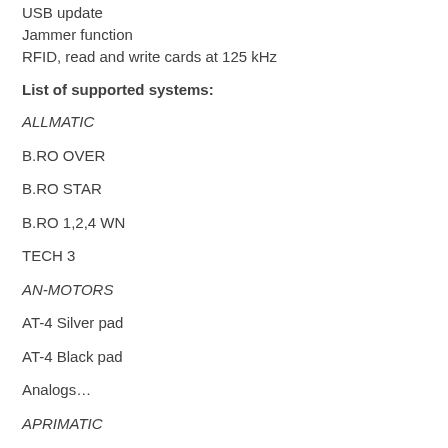USB update
Jammer function
RFID, read and write cards at 125 kHz
List of supported systems:
ALLMATIC
B.RO OVER
B.RO STAR
B.RO 1,2,4 WN
TECH 3
AN-MOTORS
AT-4 Silver pad
AT-4 Black pad
Analogs…
APRIMATIC